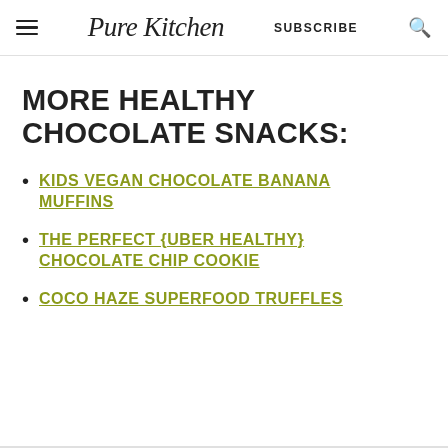Pure Kitchen | SUBSCRIBE
MORE HEALTHY CHOCOLATE SNACKS:
KIDS VEGAN CHOCOLATE BANANA MUFFINS
THE PERFECT {UBER HEALTHY} CHOCOLATE CHIP COOKIE
COCO HAZE SUPERFOOD TRUFFLES